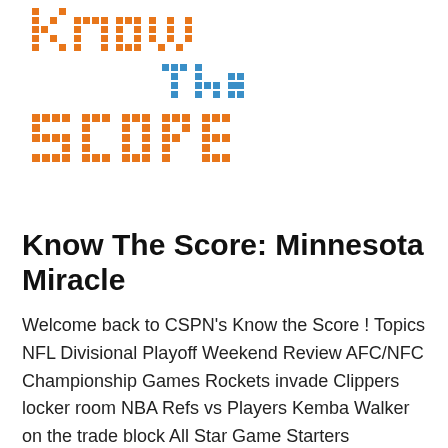[Figure (logo): Know The Score dot-matrix logo with orange pixelated letters 'Know' on top line, 'The' in blue/teal smaller text, and 'Score' in large orange pixelated letters below]
Know The Score: Minnesota Miracle
Welcome back to CSPN's Know the Score ! Topics NFL Divisional Playoff Weekend Review AFC/NFC Championship Games Rockets invade Clippers locker room NBA Refs vs Players Kemba Walker on the trade block All Star Game Starters Announced Co-Hosts: Don